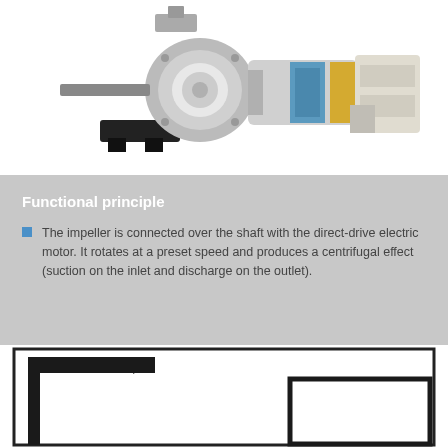[Figure (photo): Cross-section photo of a centrifugal pump showing impeller, shaft, housing in gray, blue, and yellow components]
Functional principle
The impeller is connected over the shaft with the direct-drive electric motor. It rotates at a preset speed and produces a centrifugal effect (suction on the inlet and discharge on the outlet).
[Figure (schematic): Schematic diagram showing pipe flow direction with arrow pointing right, an L-shaped pipe turning downward, and a rectangular box representing the pump unit]